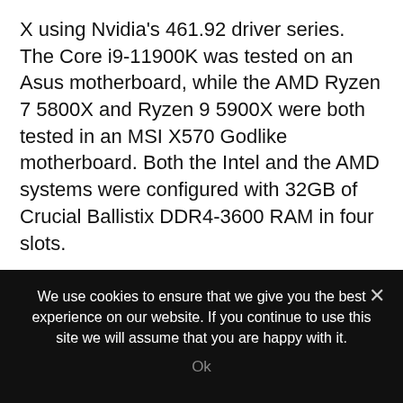X using Nvidia's 461.92 driver series. The Core i9-11900K was tested on an Asus motherboard, while the AMD Ryzen 7 5800X and Ryzen 9 5900X were both tested in an MSI X570 Godlike motherboard. Both the Intel and the AMD systems were configured with 32GB of Crucial Ballistix DDR4-3600 RAM in four slots.
We had no stability problems with our Asus ROG Maximus XIII Hero beyond a dead M.2 slot. We opted to test the board using a PCIe 3.0 riser card. This worked but blocked our ability to test PCIe 4.0 southbridge support.
We use cookies to ensure that we give you the best experience on our website. If you continue to use this site we will assume that you are happy with it.
Ok